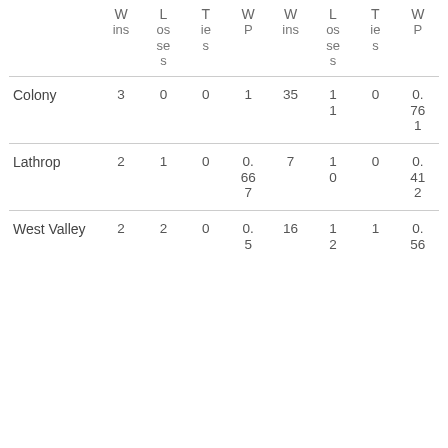|  | W ins | L os ses | T ie s | W P | W ins | L os ses | T ie s | W P |
| --- | --- | --- | --- | --- | --- | --- | --- | --- |
| Colony | 3 | 0 | 0 | 1 | 35 | 1 1 | 0 | 0. 76 1 |
| Lathrop | 2 | 1 | 0 | 0. 66 7 | 7 | 1 0 | 0 | 0. 41 2 |
| West Valley | 2 | 2 | 0 | 0. 5 | 16 | 1 2 | 1 | 0. 56 |